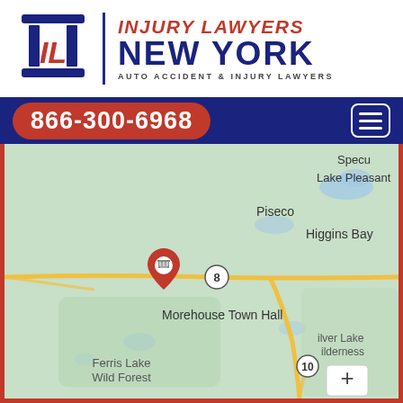[Figure (logo): Injury Lawyers New York logo with column icon, red IL letters, and text: INJURY LAWYERS NEW YORK, AUTO ACCIDENT & INJURY LAWYERS]
866-300-6968
[Figure (map): Google Maps screenshot showing area around Morehouse Town Hall, with Piseco, Higgins Bay, Lake Pleasant, Ferris Lake Wild Forest, Arietta, Silver Lake Wilderness labeled. Red map pin on Morehouse Town Hall, green phone button, zoom + button.]